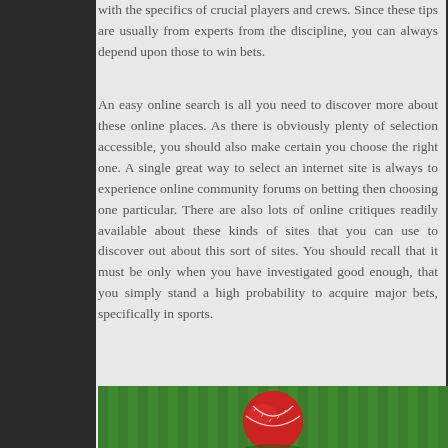with the specifics of crucial players and crews. Since these tips are usually from experts from the discipline, you can always depend upon those to win bets.
An easy online search is all you need to discover more about these online places. As there is obviously plenty of selection accessible, you should also make certain you choose the right one. A single great way to select an internet site is always to experience online community forums on betting then choosing one particular. There are also lots of online critiques readily available about these kinds of sites that you can use to discover out about this sort of sites. You should recall that it must be only when you have investigated good enough, that you simply stand a high probability to acquire major bets, specifically in sports.
[Figure (photo): A red cricket ball on green grass]